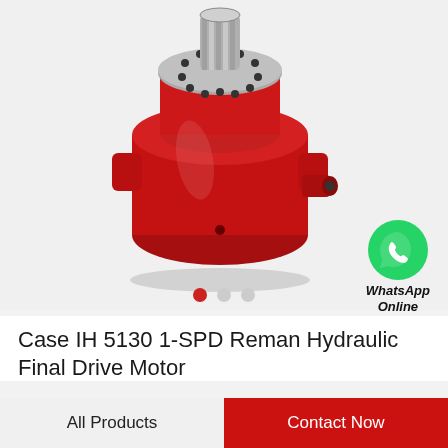[Figure (photo): 3D rendered image of a red hydraulic final drive motor with a silver splined shaft and bolt-pattern flange on top, on a light grey background. A WhatsApp Online badge with green phone icon is overlaid at the bottom-right.]
Case IH 5130 1-SPD Reman Hydraulic Final Drive Motor
All Products
Contact Now